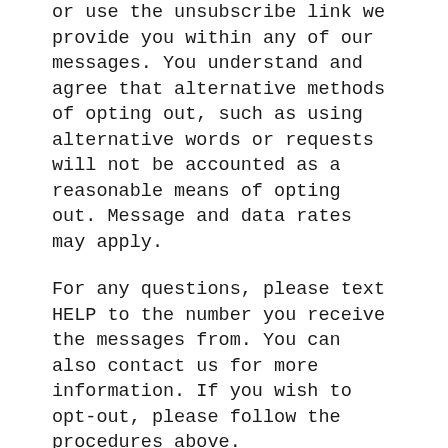or use the unsubscribe link we provide you within any of our messages. You understand and agree that alternative methods of opting out, such as using alternative words or requests will not be accounted as a reasonable means of opting out. Message and data rates may apply.
For any questions, please text HELP to the number you receive the messages from. You can also contact us for more information. If you wish to opt-out, please follow the procedures above.
If you are located in the EEA or the UK and/or you are a customer of Life O Inc:
We are using a text messaging platform, which is subject to the following terms and conditions. By opting-in for our text marketing and notifications, you agree to these terms and conditions. By entering your phone number in